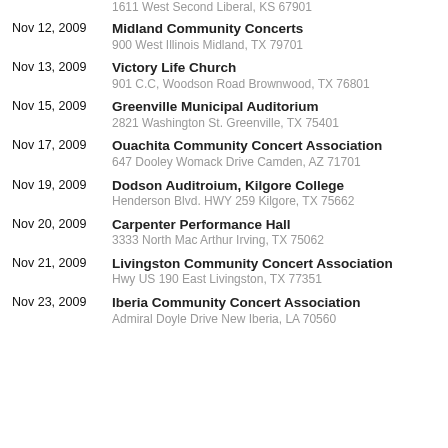1611 West Second Liberal, KS 67901
Nov 12, 2009 | Midland Community Concerts | 900 West Illinois Midland, TX 79701
Nov 13, 2009 | Victory Life Church | 901 C.C, Woodson Road Brownwood, TX 76801
Nov 15, 2009 | Greenville Municipal Auditorium | 2821 Washington St. Greenville, TX 75401
Nov 17, 2009 | Ouachita Community Concert Association | 647 Dooley Womack Drive Camden, AZ 71701
Nov 19, 2009 | Dodson Auditroium, Kilgore College | Henderson Blvd. HWY 259 Kilgore, TX 75662
Nov 20, 2009 | Carpenter Performance Hall | 3333 North Mac Arthur Irving, TX 75062
Nov 21, 2009 | Livingston Community Concert Association | Hwy US 190 East Livingston, TX 77351
Nov 23, 2009 | Iberia Community Concert Association | Admiral Doyle Drive New Iberia, LA 70560